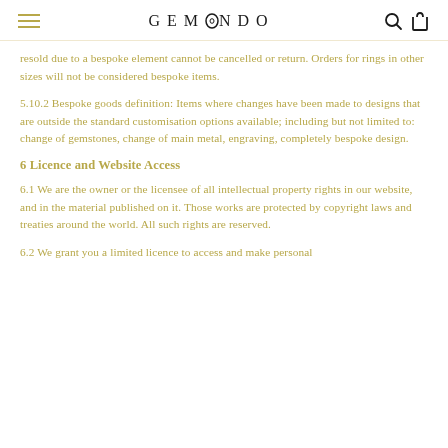GEMONDO
resold due to a bespoke element cannot be cancelled or return. Orders for rings in other sizes will not be considered bespoke items.
5.10.2 Bespoke goods definition: Items where changes have been made to designs that are outside the standard customisation options available; including but not limited to: change of gemstones, change of main metal, engraving, completely bespoke design.
6 Licence and Website Access
6.1 We are the owner or the licensee of all intellectual property rights in our website, and in the material published on it. Those works are protected by copyright laws and treaties around the world. All such rights are reserved.
6.2 We grant you a limited licence to access and make personal